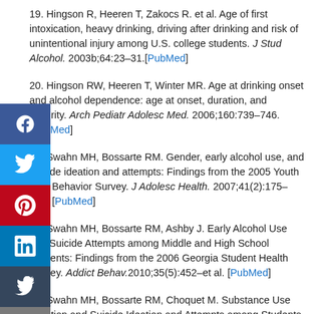19. Hingson R, Heeren T, Zakocs R. et al. Age of first intoxication, heavy drinking, driving after drinking and risk of unintentional injury among U.S. college students. J Stud Alcohol. 2003b;64:23–31.[PubMed]
20. Hingson RW, Heeren T, Winter MR. Age at drinking onset and alcohol dependence: age at onset, duration, and severity. Arch Pediatr Adolesc Med. 2006;160:739–746. [PubMed]
21. Swahn MH, Bossarte RM. Gender, early alcohol use, and suicide ideation and attempts: Findings from the 2005 Youth Risk Behavior Survey. J Adolesc Health. 2007;41(2):175–181. [PubMed]
22. Swahn MH, Bossarte RM, Ashby J. Early Alcohol Use and Suicide Attempts among Middle and High School Students: Findings from the 2006 Georgia Student Health Survey. Addict Behav.2010;35(5):452–et al. [PubMed]
23. Swahn MH, Bossarte RM, Choquet M. Substance Use Initiation and Suicide Ideation and Attempts among Students in France and the U.S. 2011 Apr 27. [Epub ahead of print] [PubMed]
24. Plutchik R. Outward and inward directed aggressiveness: The interaction between violence and